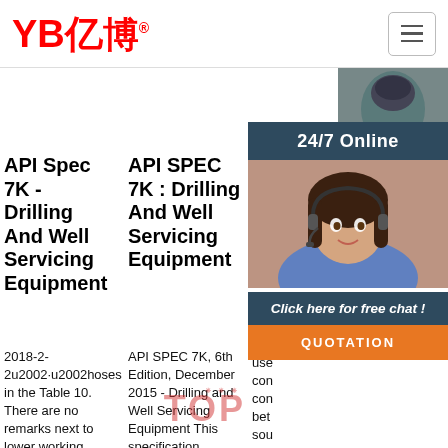YB亿博® [hamburger menu]
[Figure (photo): Partial view of industrial equipment at top right]
[Figure (photo): 24/7 Online customer service representative chat widget with photo of woman with headset, Click here for free chat!, and QUOTATION button]
API Spec 7K - Drilling And Well Servicing Equipment
2018-2-2u2002·u2002hoses in the Table 10. There are no remarks next to lower working pressure hoses. Thus it could be assumed that all the hoses with a working pressure lower than 10,000 psi can be labelled
API SPEC 7K : Drilling And Well Servicing Equipment
API SPEC 7K, 6th Edition, December 2015 - Drilling and Well Servicing Equipment This specification provides general principles and specifies requirements for design, manufacture, and testing of new
Air
Ligh flex ass use con con bet sou gau operated tools. We stock a range of popular brands you trust including Ironair, CEJN, Macnaught, Retracta,